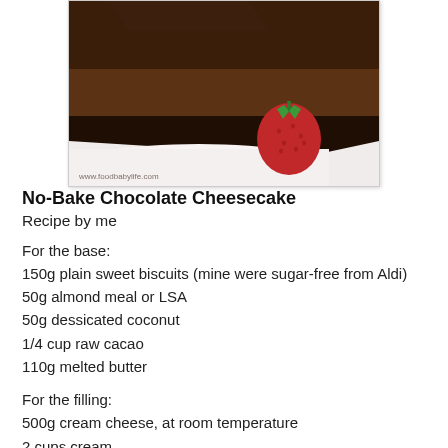[Figure (photo): A slice of no-bake chocolate cheesecake on a white plate with a fresh strawberry, watermark www.foodbabylife.com]
No-Bake Chocolate Cheesecake
Recipe by me
For the base:
150g plain sweet biscuits (mine were sugar-free from Aldi)
50g almond meal or LSA
50g dessicated coconut
1/4 cup raw cacao
110g melted butter
For the filling:
500g cream cheese, at room temperature
2 cups cream